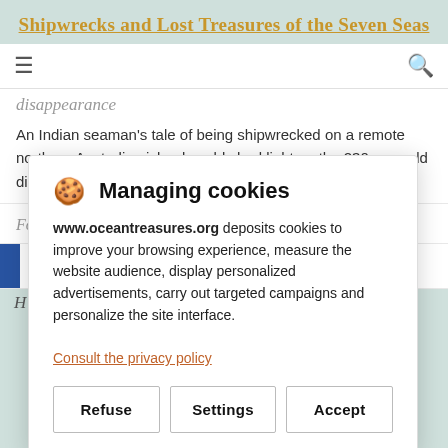Shipwrecks and Lost Treasures of the Seven Seas
disappearance
An Indian seaman's tale of being shipwrecked on a remote northern Australian island could shed light on the 230-year-old disappearance of a renowned French...
Four 19th-century shipwrecks found off Australian coast
Managing cookies

www.oceantreasures.org deposits cookies to improve your browsing experience, measure the website audience, display personalized advertisements, carry out targeted campaigns and personalize the site interface.

Consult the privacy policy

Refuse | Settings | Accept
H